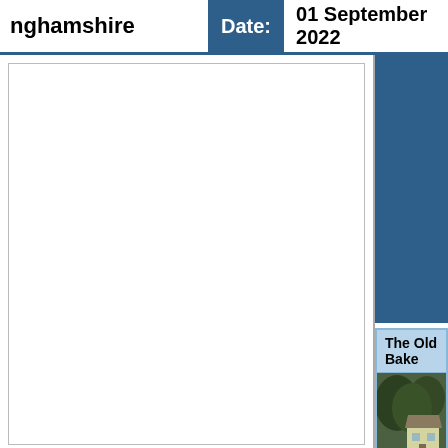nghamshire   Date: 01 September 2022
[Figure (photo): The Old Bake - exterior photo of a cottage/house with trees and garden]
The Old Bake
www.bedb...